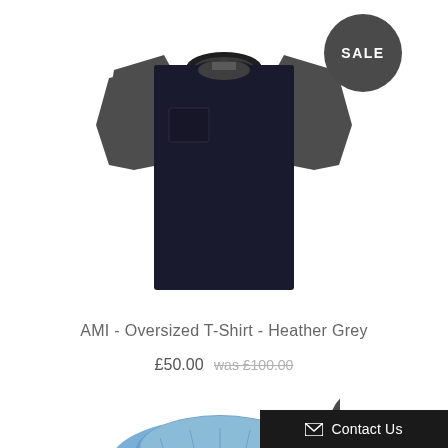[Figure (photo): Dark navy/black oversized t-shirt with dark grey sleeves and a chest pocket, shown flat on white background. A dark grey circular SALE badge is in the top right.]
AMI - Oversized T-Shirt - Heather Grey
£50.00 was £100.00
[Figure (photo): Blue denim cap partially visible at bottom of page with a dark grey circular SALE badge.]